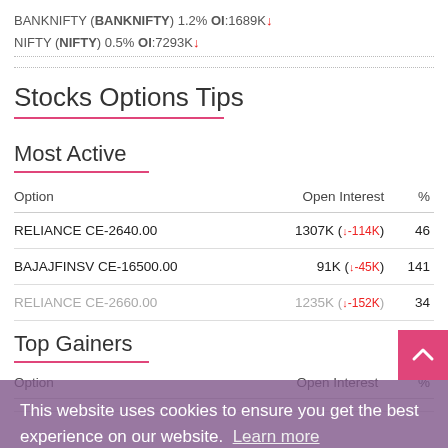BANKNIFTY (BANKNIFTY) 1.2% OI:1689K↓
NIFTY (NIFTY) 0.5% OI:7293K↓
Stocks Options Tips
Most Active
| Option | Open Interest | % |
| --- | --- | --- |
| RELIANCE CE-2640.00 | 1307K (↓-114K) | 46 |
| BAJAJFINSV CE-16500.00 | 91K (↓-45K) | 141 |
| RELIANCE CE-2660.00 | 1235K (↓-152K) | 34 |
Top Gainers
| Option | Open Interest | % |
| --- | --- | --- |
This website uses cookies to ensure you get the best experience on our website. Learn more
Got it!